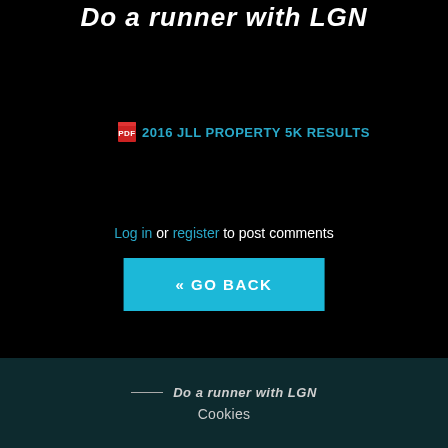Do a runner with LGN
2016 JLL PROPERTY 5K RESULTS
Log in or register to post comments
« GO BACK
[Figure (logo): Do a runner with LGN logo in footer]
Cookies